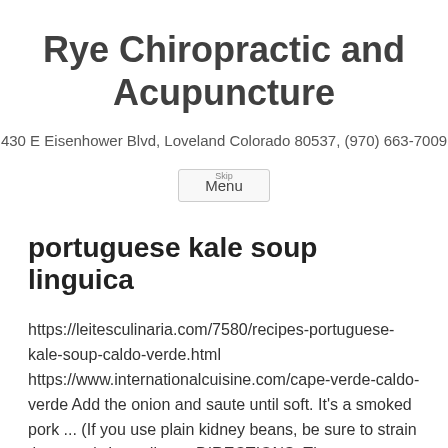Rye Chiropractic and Acupuncture
430 E Eisenhower Blvd, Loveland Colorado 80537, (970) 663-7009
Menu
portuguese kale soup linguica
https://leitesculinaria.com/7580/recipes-portuguese-kale-soup-caldo-verde.html https://www.internationalcuisine.com/cape-verde-caldo-verde Add the onion and saute until soft. It’s a smoked pork ... (If you use plain kidney beans, be sure to strain the water). Ingredients. DIRECTIONS. There are so many reasons to love this soup; added protein-rich chick peas, carrots, celery and